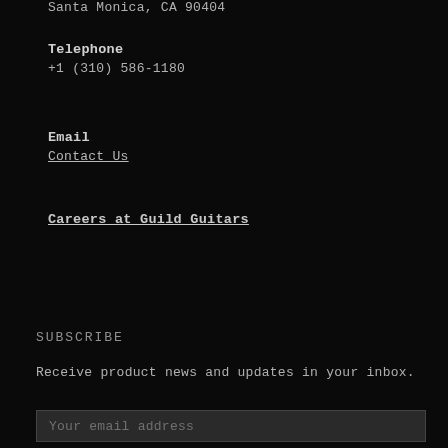Santa Monica, CA 90404
Telephone
+1 (310) 586-1180
Email
Contact Us
Careers at Guild Guitars
SUBSCRIBE
Receive product news and updates in your inbox.
Your email address